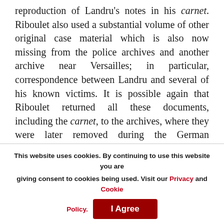reproduction of Landru's notes in his carnet. Riboulet also used a substantial volume of other original case material which is also now missing from the police archives and another archive near Versailles; in particular, correspondence between Landru and several of his known victims. It is possible again that Riboulet returned all these documents, including the carnet, to the archives, where they were later removed during the German occupation of Paris. But it seems more likely that the material remained in Riboulet's possession and is now in private hands.
This website uses cookies. By continuing to use this website you are giving consent to cookies being used. Visit our Privacy and Cookie Policy. I Agree